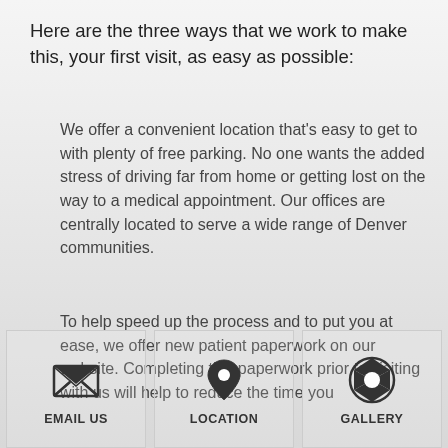Here are the three ways that we work to make this, your first visit, as easy as possible:
We offer a convenient location that's easy to get to with plenty of free parking. No one wants the added stress of driving far from home or getting lost on the way to a medical appointment. Our offices are centrally located to serve a wide range of Denver communities.
To help speed up the process and to put you at ease, we offer new patient paperwork on our website. Completing this paperwork prior to visiting with us will help to reduce the time you
[Figure (infographic): Three icon boxes at the bottom of the page: EMAIL US (envelope icon), LOCATION (map pin icon), GALLERY (camera shutter icon)]